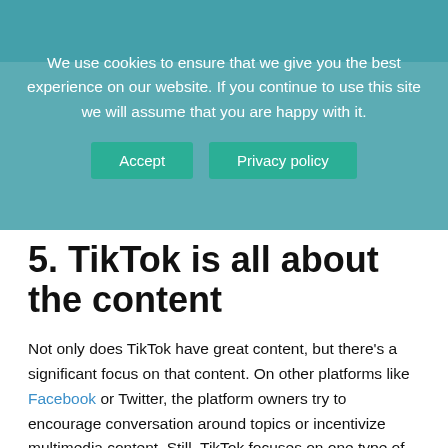We use cookies to ensure that we give you the best experience on our website. If you continue to use this site we will assume that you are happy with it. Accept | Privacy policy
5. TikTok is all about the content
Not only does TikTok have great content, but there’s a significant focus on that content. On other platforms like Facebook or Twitter, the platform owners try to encourage conversation around topics or incentivize multimedia content. Still, TikTok focuses on one type of creative endeavor and gets it right.
On TikTok, you will be making short-form videos, and that’s all you’ll be doing. Of course, you will also be engaging with users via comments and watching other people’s content, but for the most part, the focus is on the